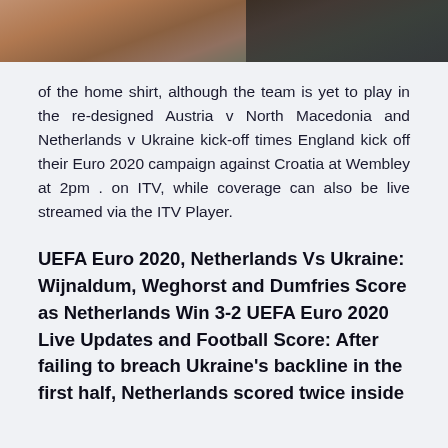[Figure (photo): Partial view of a person wearing a brown/orange knitted sweater, cropped to show upper body area, blurred background]
of the home shirt, although the team is yet to play in the re-designed Austria v North Macedonia and Netherlands v Ukraine kick-off times England kick off their Euro 2020 campaign against Croatia at Wembley at 2pm . on ITV, while coverage can also be live streamed via the ITV Player.
UEFA Euro 2020, Netherlands Vs Ukraine: Wijnaldum, Weghorst and Dumfries Score as Netherlands Win 3-2 UEFA Euro 2020 Live Updates and Football Score: After failing to breach Ukraine's backline in the first half, Netherlands scored twice inside